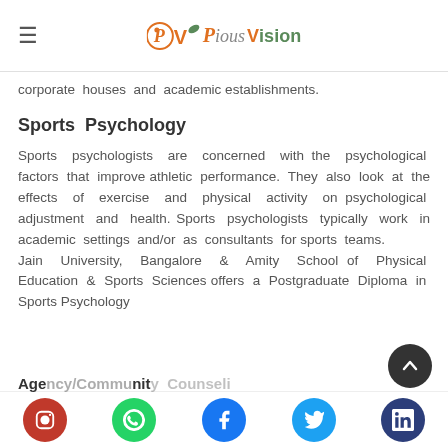Pious Vision
corporate houses and academic establishments.
Sports Psychology
Sports psychologists are concerned with the psychological factors that improve athletic performance. They also look at the effects of exercise and physical activity on psychological adjustment and health. Sports psychologists typically work in academic settings and/or as consultants for sports teams.
Jain University, Bangalore & Amity School of Physical Education & Sports Sciences offers a Postgraduate Diploma in Sports Psychology
Agency/Community Counseli…